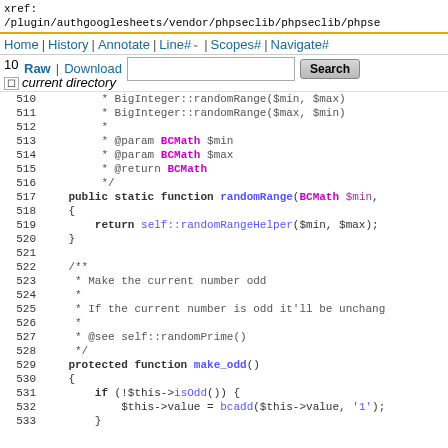xref:
/plugin/authgooglesheets/vendor/phpseclib/phpseclib/phpseclib/phps
Home | History | Annotate | Line# | Scopes# | Navigate#
10 Raw | Download [search box] Search
510 current directory
Code listing lines 510-533 of a PHP file showing randomRange and make_odd functions